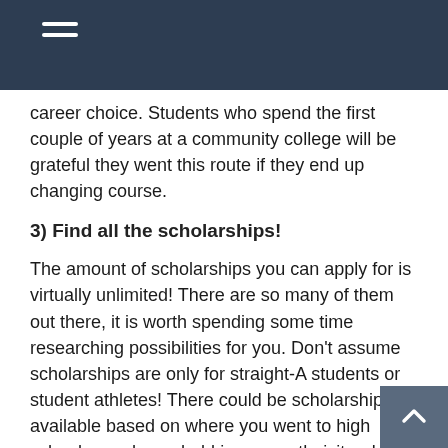career choice. Students who spend the first couple of years at a community college will be grateful they went this route if they end up changing course.
3) Find all the scholarships!
The amount of scholarships you can apply for is virtually unlimited! There are so many of them out there, it is worth spending some time researching possibilities for you. Don't assume scholarships are only for straight-A students or student athletes! There could be scholarships available based on where you went to high school, your household income, ethnicity, skills, clubs, field of study, contest winners, involvement in the community, etc.
4) Work part time